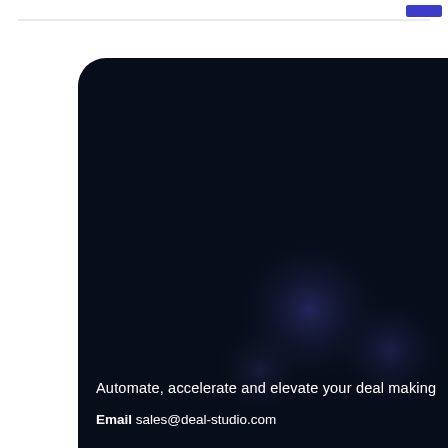[Figure (illustration): Dark navy rounded card/device graphic with subtle glowing circles, positioned in lower portion of page on white background]
Automate, accelerate and elevate your deal making
Email sales@deal-studio.com